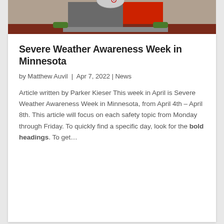[Figure (photo): Outdoor sign structure with gray and red panels, mounted on a base with red mulch landscaping, partially visible logo at top]
Severe Weather Awareness Week in Minnesota
by Matthew Auvil  |  Apr 7, 2022  |  News
Article written by Parker Kieser This week in April is Severe Weather Awareness Week in Minnesota, from April 4th – April 8th. This article will focus on each safety topic from Monday through Friday. To quickly find a specific day, look for the bold headings. To get…